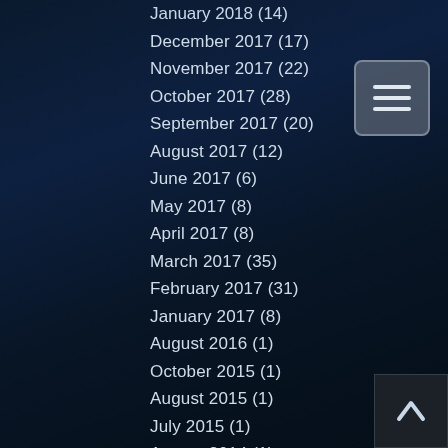January 2018 (14)
December 2017 (17)
November 2017 (22)
October 2017 (28)
September 2017 (20)
August 2017 (12)
June 2017 (6)
May 2017 (8)
April 2017 (8)
March 2017 (35)
February 2017 (31)
January 2017 (8)
August 2016 (1)
October 2015 (1)
August 2015 (1)
July 2015 (1)
August 2014 (1)
July 2014 (1)
February 2014 (1)
November 2013 (1)
July 2013 (1)